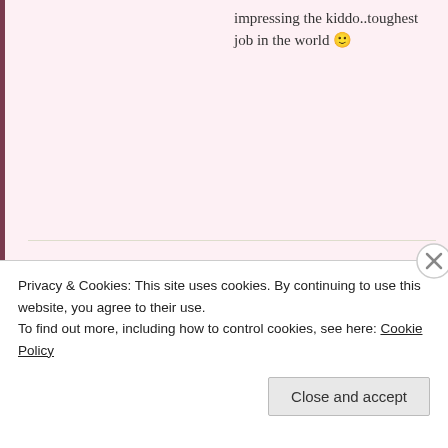impressing the kiddo..toughest job in the world 🙂
LEAVE A REPLY
Your email address will not be published. Required fields are marked *
[Figure (screenshot): Empty comment text area input box]
Privacy & Cookies: This site uses cookies. By continuing to use this website, you agree to their use.
To find out more, including how to control cookies, see here: Cookie Policy
Close and accept